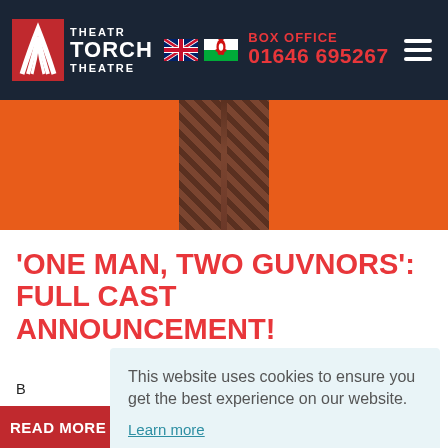Theatr Torch Theatre | BOX OFFICE 01646 695267
[Figure (photo): Hero image with orange background showing a person in brown checked trousers from the waist down]
'ONE MAN, TWO GUVNORS': FULL CAST ANNOUNCEMENT!
B... E... M... th... M... 'u...
This website uses cookies to ensure you get the best experience on our website. Learn more Got it!
READ MORE